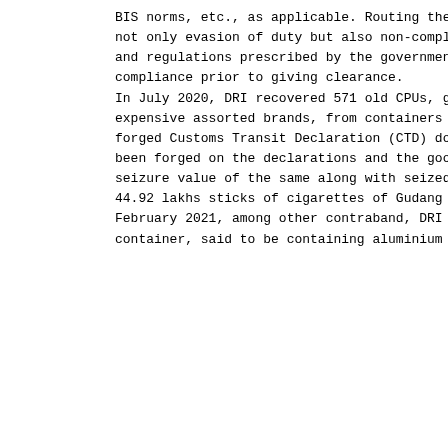BIS norms, etc., as applicable. Routing the
not only evasion of duty but also non-compli
and regulations prescribed by the government
compliance prior to giving clearance.
In July 2020, DRI recovered 571 old CPUs, gy
expensive assorted brands, from containers t
forged Customs Transit Declaration (CTD) doc
been forged on the declarations and the goo
seizure value of the same along with seized
44.92 lakhs sticks of cigarettes of Gudang G
February 2021, among other contraband, DRI
container, said to be containing aluminium s